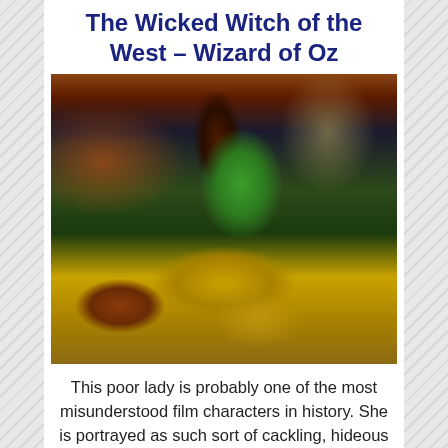The Wicked Witch of the West – Wizard of Oz
[Figure (photo): A photo of a green-faced woman dressed as the Wicked Witch of the West from the Wizard of Oz, wearing a black pointed hat and black costume, holding a broomstick, with colorful Oz set decorations in the background including a yellow brick road.]
This poor lady is probably one of the most misunderstood film characters in history. She is portrayed as such sort of cackling, hideous fiend. Yet, all she is trying to do in the Wizard of Oz is reclaim a family possession. You see, the evil Dorothy kills her sister, The Wicked Witch of the East. She does this through the unconventional murdering